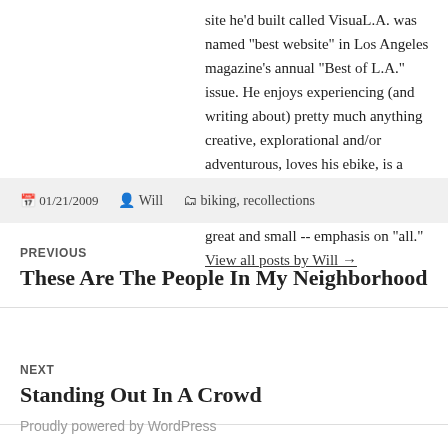site he'd built called VisuaL.A. was named "best website" in Los Angeles magazine's annual "Best of L.A." issue. He enjoys experiencing (and writing about) pretty much anything creative, explorational and/or adventurous, loves his ebike, is a better tennis player than he is horr golfer, and a lover of all creatures great and small -- emphasis on "all." View all posts by Will →
01/21/2009  Will  biking, recollections
PREVIOUS
These Are The People In My Neighborhood
NEXT
Standing Out In A Crowd
Proudly powered by WordPress